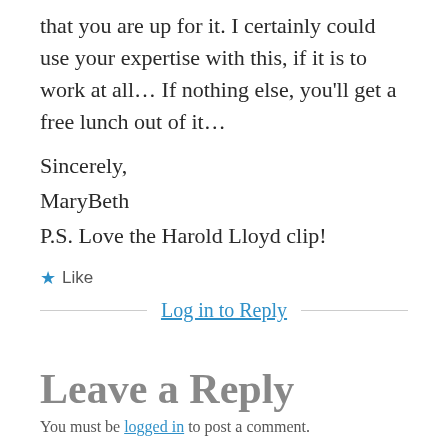that you are up for it. I certainly could use your expertise with this, if it is to work at all… If nothing else, you'll get a free lunch out of it…
Sincerely,
MaryBeth
P.S. Love the Harold Lloyd clip!
★ Like
Log in to Reply
Leave a Reply
You must be logged in to post a comment.